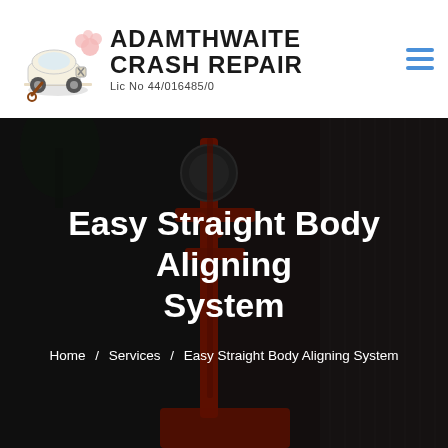[Figure (logo): Adamthwaite Crash Repair logo with illustrated damaged car and company name text, Lic No 44/016485/0]
[Figure (photo): Dark background photo of automotive body repair equipment - a red body aligning/pulling tool in a workshop setting]
Easy Straight Body Aligning System
Home / Services / Easy Straight Body Aligning System